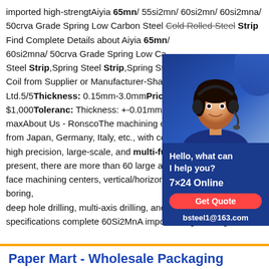imported high-strengtAiyia 65mn/ 55si2mn/ 60si2mn/ 60si2mna/ 50crva Grade Spring Low Carbon Steel Cold Rolled Steel Strip Find Complete Details about Aiyia 65mn/ 60si2mna/ 50crva Grade Spring Low Carbon Steel Strip,Spring Steel Strip,Spring Steel Coil from Supplier or Manufacturer-Shan Ltd.5/5Thickness: 0.15mm-3.0mmPrice: $1,000Toleranc: Thickness: +-0.01mm maxAbout Us - RonscoThe machining eq from Japan, Germany, Italy, etc., with con high precision, large-scale, and multi-fu present, there are more than 60 large and medium gantry five-face machining centers, vertical/horizontal turning, milling, boring, deep hole drilling, multi-axis drilling, and gantry Wholesale retail specifications complete 60Si2MnA imported high-strengt
[Figure (photo): Chat support widget with photo of a woman wearing a headset, on a dark blue background. Contains text: Hello, what can I help you? 7×24 Online, Get Quote button, bsteel1@163.com]
Paper Mart - Wholesale Packaging